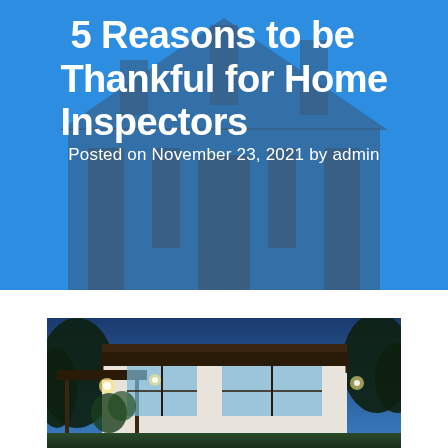5 Reasons to be Thankful for Home Inspectors
Posted on November 23, 2021 by admin
[Figure (photo): Night-time exterior photo of a modern house with large windows, outdoor lighting, trees, and a carport or covered porch area illuminated warmly against a deep blue evening sky]